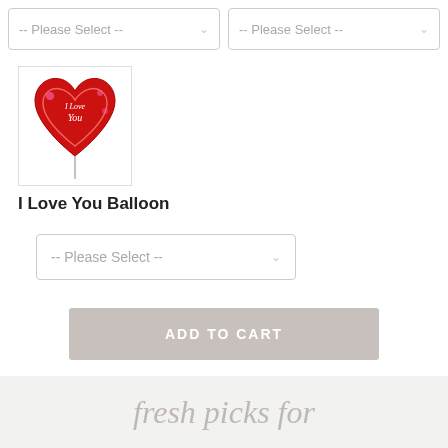[Figure (screenshot): Two 'Please Select' dropdown boxes at top of page]
[Figure (photo): Red heart-shaped 'I Love You' balloon product image]
I Love You Balloon
[Figure (screenshot): Single 'Please Select' dropdown box]
ADD TO CART
fresh picks for